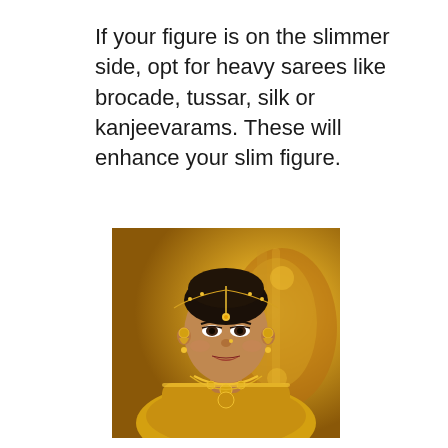If your figure is on the slimmer side, opt for heavy sarees like brocade, tussar, silk or kanjeevarams. These will enhance your slim figure.
[Figure (photo): A woman in traditional South Indian bridal attire wearing gold jewelry including a maang tikka, necklaces, and earrings, dressed in a golden yellow silk saree, smiling at the camera with a golden decorative background.]